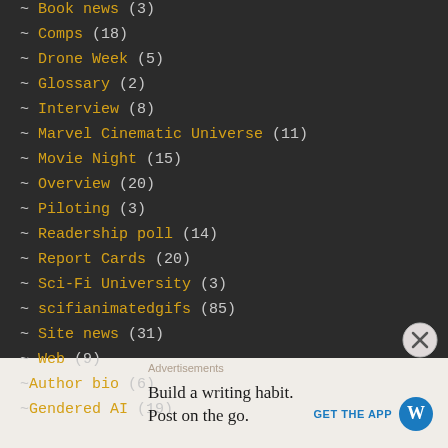~ Book news (3)
~ Comps (18)
~ Drone Week (5)
~ Glossary (2)
~ Interview (8)
~ Marvel Cinematic Universe (11)
~ Movie Night (15)
~ Overview (20)
~ Piloting (3)
~ Readership poll (14)
~ Report Cards (20)
~ Sci-Fi University (3)
~ scifianimatedgifs (85)
~ Site news (31)
~ Web (9)
~Author bio (6)
~Gendered AI (19)
Advertisements
Build a writing habit.
Post on the go.
GET THE APP